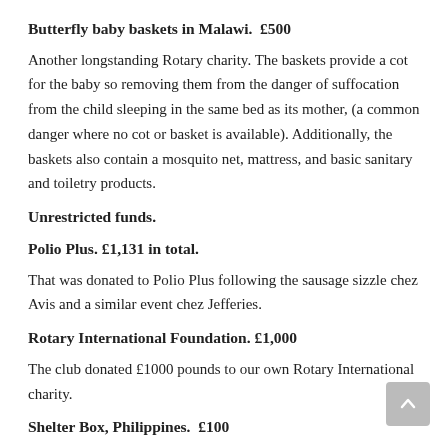Butterfly baby baskets in Malawi.  £500
Another longstanding Rotary charity. The baskets provide a cot for the baby so removing them from the danger of suffocation from the child sleeping in the same bed as its mother, (a common danger where no cot or basket is available). Additionally, the baskets also contain a mosquito net, mattress, and basic sanitary and toiletry products.
Unrestricted funds.
Polio Plus. £1,131 in total.
That was donated to Polio Plus following the sausage sizzle chez Avis and a similar event chez Jefferies.
Rotary International Foundation. £1,000
The club donated £1000 pounds to our own Rotary International charity.
Shelter Box, Philippines.  £100